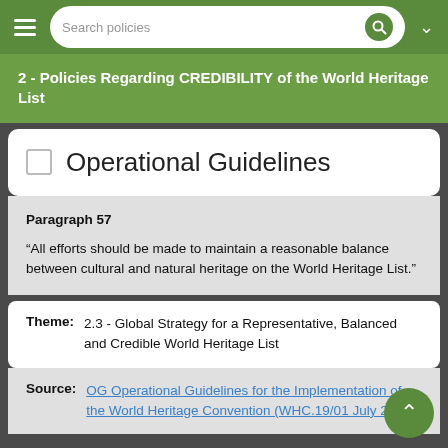Search policies
2 - Policies Regarding CREDIBILITY of the World Heritage List
Operational Guidelines
Paragraph 57
“All efforts should be made to maintain a reasonable balance between cultural and natural heritage on the World Heritage List.”
Theme: 2.3 - Global Strategy for a Representative, Balanced and Credible World Heritage List
Source: OG Operational Guidelines for the Implementation of the World Heritage Convention (WHC.19/01 July 2019)